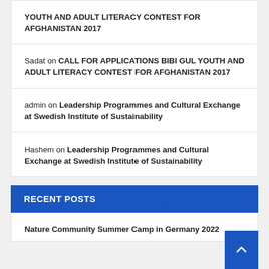YOUTH AND ADULT LITERACY CONTEST FOR AFGHANISTAN 2017
Sadat on CALL FOR APPLICATIONS BIBI GUL YOUTH AND ADULT LITERACY CONTEST FOR AFGHANISTAN 2017
admin on Leadership Programmes and Cultural Exchange at Swedish Institute of Sustainability
Hashem on Leadership Programmes and Cultural Exchange at Swedish Institute of Sustainability
RECENT POSTS
Nature Community Summer Camp in Germany 2022